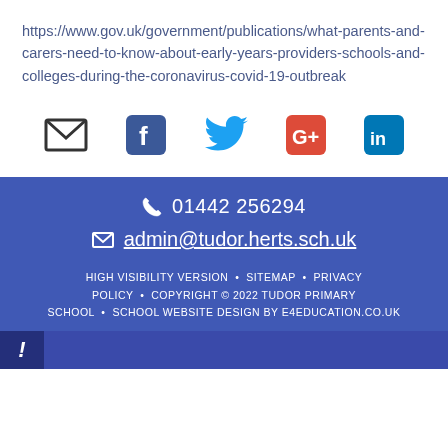https://www.gov.uk/government/publications/what-parents-and-carers-need-to-know-about-early-years-providers-schools-and-colleges-during-the-coronavirus-covid-19-outbreak
[Figure (infographic): Social share icons: email (envelope), Facebook, Twitter, Google+, LinkedIn]
01442 256294 | admin@tudor.herts.sch.uk | HIGH VISIBILITY VERSION • SITEMAP • PRIVACY POLICY • COPYRIGHT © 2022 TUDOR PRIMARY SCHOOL • SCHOOL WEBSITE DESIGN BY E4EDUCATION.CO.UK